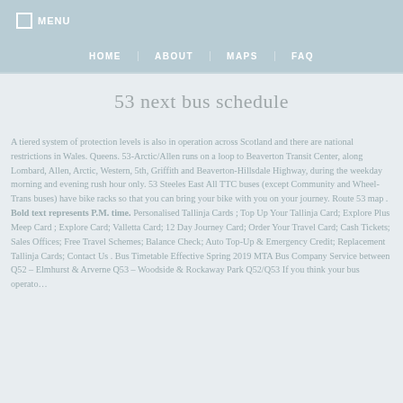MENU | HOME | ABOUT | MAPS | FAQ
53 next bus schedule
A tiered system of protection levels is also in operation across Scotland and there are national restrictions in Wales. Queens. 53-Arctic/Allen runs on a loop to Beaverton Transit Center, along Lombard, Allen, Arctic, Western, 5th, Griffith and Beaverton-Hillsdale Highway, during the weekday morning and evening rush hour only. 53 Steeles East All TTC buses (except Community and Wheel-Trans buses) have bike racks so that you can bring your bike with you on your journey. Route 53 map . Bold text represents P.M. time. Personalised Tallinja Cards ; Top Up Your Tallinja Card; Explore Plus Meep Card ; Explore Card; Valletta Card; 12 Day Journey Card; Order Your Travel Card; Cash Tickets; Sales Offices; Free Travel Schemes; Balance Check; Auto Top-Up & Emergency Credit; Replacement Tallinja Cards; Contact Us . Bus Timetable Effective Spring 2019 MTA Bus Company Service between Q52 – Elmhurst & Arverne Q53 – Woodside & Rockaway Park Q52/Q53 If you think your bus operator